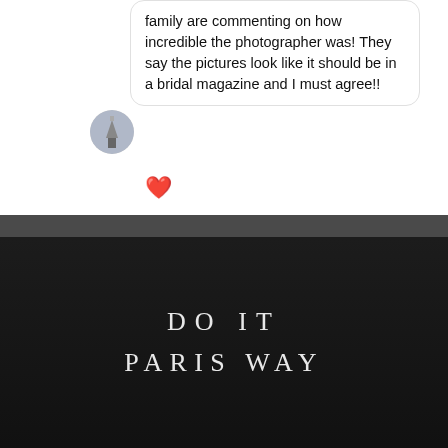family are commenting on how incredible the photographer was! They say the pictures look like it should be in a bridal magazine and I must agree!!
[Figure (other): Small circular avatar with Eiffel Tower icon]
❤️
[Figure (screenshot): Website screenshot showing dark background with text 'DO IT PARIS WAY' in elegant serif lettering, with a scroll-up button at bottom right]